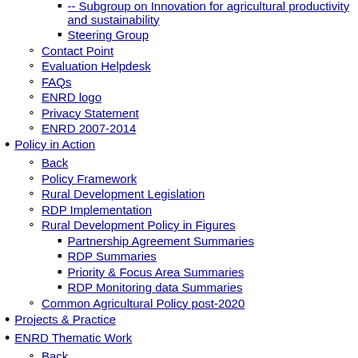-- Subgroup on Innovation for agricultural productivity and sustainability
Steering Group
Contact Point
Evaluation Helpdesk
FAQs
ENRD logo
Privacy Statement
ENRD 2007-2014
Policy in Action
Back
Policy Framework
Rural Development Legislation
RDP Implementation
Rural Development Policy in Figures
Partnership Agreement Summaries
RDP Summaries
Priority & Focus Area Summaries
RDP Monitoring data Summaries
Common Agricultural Policy post-2020
Projects & Practice
ENRD Thematic Work
Back
Landscape Features and Biodiversity
Organic Food Chains